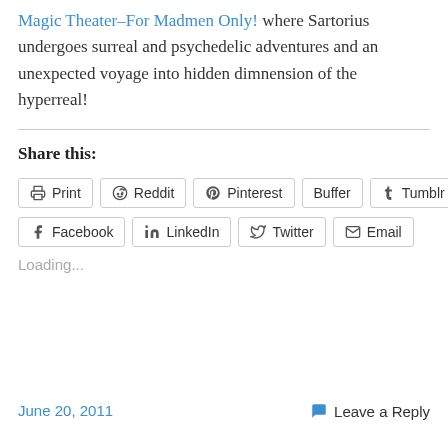Magic Theater–For Madmen Only! where Sartorius undergoes surreal and psychedelic adventures and an unexpected voyage into hidden dimnension of the hyperreal!
Share this:
Print | Reddit | Pinterest | Buffer | Tumblr | Facebook | LinkedIn | Twitter | Email
Loading...
June 20, 2011   Leave a Reply